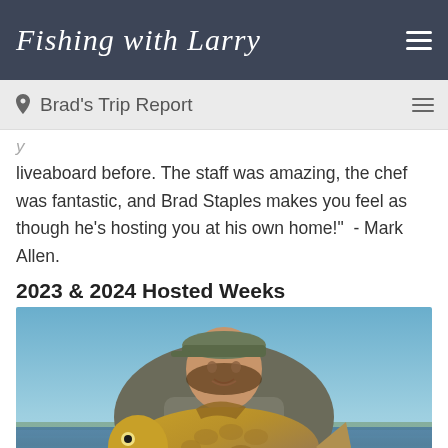Fishing with Larry
Brad's Trip Report
liveaboard before. The staff was amazing, the chef was fantastic, and Brad Staples makes you feel as though he's hosting you at his own home!"  - Mark Allen.
2023 & 2024 Hosted Weeks
[Figure (photo): Man holding a large fish outdoors, with a lake and blue sky in the background. He is wearing a cap and casual outdoor clothing.]